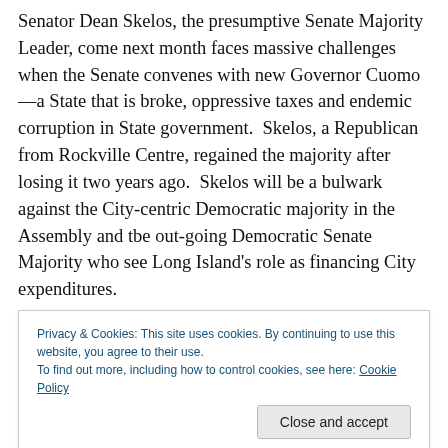Senator Dean Skelos, the presumptive Senate Majority Leader, come next month faces massive challenges when the Senate convenes with new Governor Cuomo—a State that is broke, oppressive taxes and endemic corruption in State government.  Skelos, a Republican from Rockville Centre, regained the majority after losing it two years ago.  Skelos will be a bulwark against the City-centric Democratic majority in the Assembly and tbe out-going Democratic Senate Majority who see Long Island's role as financing City expenditures.
[Figure (screenshot): Privacy & Cookies banner overlay with text about cookie policy and a 'Close and accept' button]
time to preserve his high paid, political patronage position